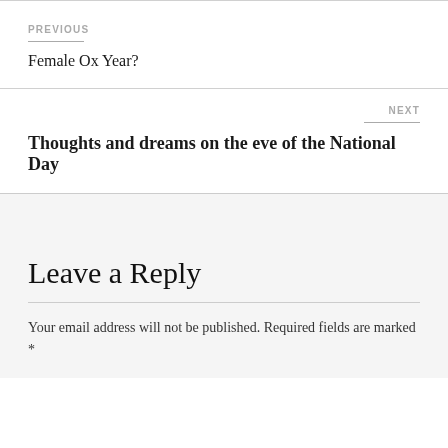PREVIOUS
Female Ox Year?
NEXT
Thoughts and dreams on the eve of the National Day
Leave a Reply
Your email address will not be published. Required fields are marked *